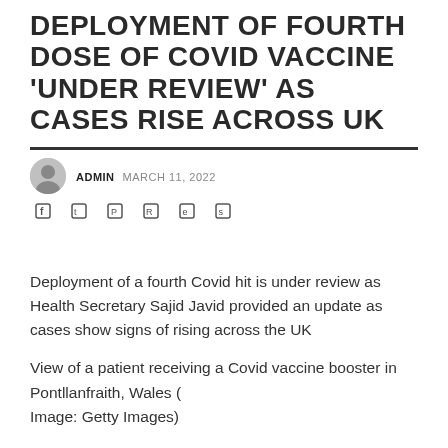DEPLOYMENT OF FOURTH DOSE OF COVID VACCINE 'UNDER REVIEW' AS CASES RISE ACROSS UK
ADMIN   MARCH 11, 2022
Deployment of a fourth Covid hit is under review as Health Secretary Sajid Javid provided an update as cases show signs of rising across the UK
View of a patient receiving a Covid vaccine booster in Pontllanfraith, Wales (
Image: Getty Images)